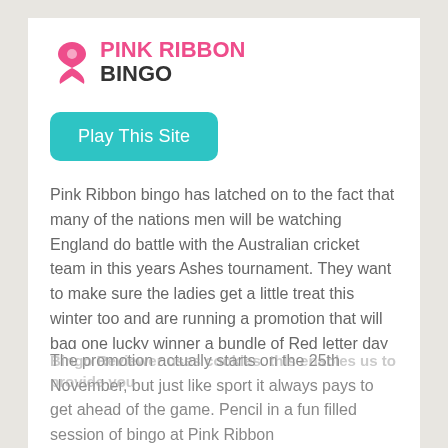[Figure (logo): Pink Ribbon Bingo logo with pink ribbon icon and text 'PINK RIBBON BINGO']
Play This Site
Pink Ribbon bingo has latched on to the fact that many of the nations men will be watching England do battle with the Australian cricket team in this years Ashes tournament. They want to make sure the ladies get a little treat this winter too and are running a promotion that will bag one lucky winner a bundle of Red letter day vouchers.
Ashes Prize Draw
Bingo Reviewer uses cookies. this enables us to provide you
The promotion actually starts on the 25th November, but just like sport it always pays to get ahead of the game. Pencil in a fun filled session of bingo at Pink Ribbon